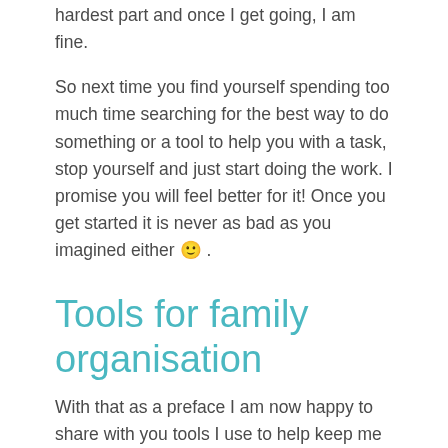hardest part and once I get going, I am fine.
So next time you find yourself spending too much time searching for the best way to do something or a tool to help you with a task, stop yourself and just start doing the work. I promise you will feel better for it! Once you get started it is never as bad as you imagined either 🙂 .
Tools for family organisation
With that as a preface I am now happy to share with you tools I use to help keep me